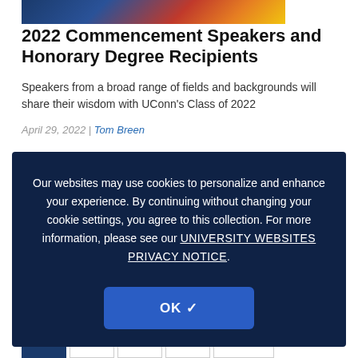[Figure (photo): Top banner image showing commencement or university scene with people in colorful attire]
2022 Commencement Speakers and Honorary Degree Recipients
Speakers from a broad range of fields and backgrounds will share their wisdom with UConn's Class of 2022
April 29, 2022 | Tom Breen
ALUMNI
UNIVERSITY NEWS
Our websites may use cookies to personalize and enhance your experience. By continuing without changing your cookie settings, you agree to this collection. For more information, please see our UNIVERSITY WEBSITES PRIVACY NOTICE.
OK ✓